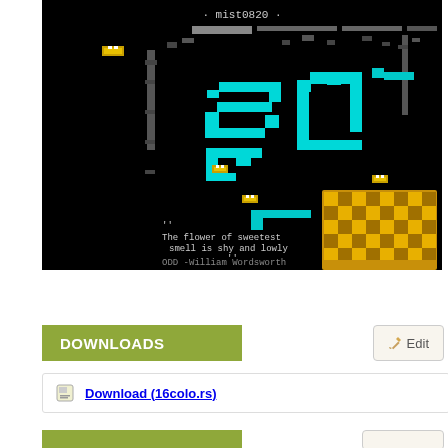[Figure (screenshot): Pixel art / ANSI art screenshot on black background. Shows 'mist0820' username at top, cyan colored stylized text/art in middle, yellow/gold pixel art of what appears to be a flower or decorative element at bottom right. Text overlay reads: '' The flower of sweetest smell is shy and lowly '' ODD -William Wordsworth]
Add screenshot
DOWNLOADS
Edit
Download (16colo.rs)